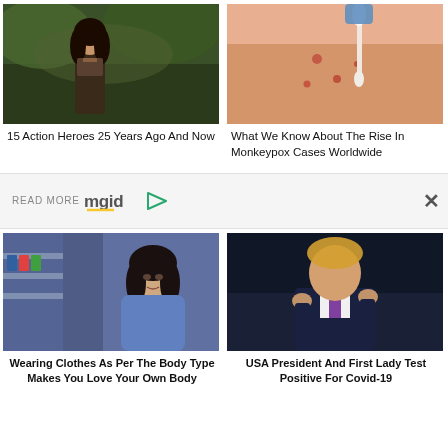[Figure (photo): Woman in warrior costume outdoors]
15 Action Heroes 25 Years Ago And Now
[Figure (photo): Close-up of skin with rash and cotton swab]
What We Know About The Rise In Monkeypox Cases Worldwide
READ MORE mgid
[Figure (photo): Young woman in blue cardigan]
Wearing Clothes As Per The Body Type Makes You Love Your Own Body
[Figure (photo): Man in suit gesturing with hands]
USA President And First Lady Test Positive For Covid-19